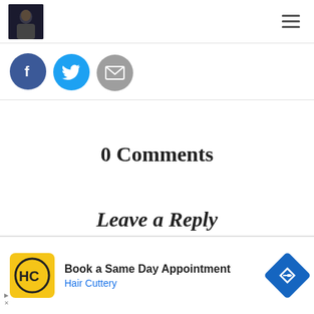Blog header with logo and hamburger menu
[Figure (illustration): Three social share buttons: Facebook (blue circle with f), Twitter (light blue circle with bird), Email (grey circle with envelope)]
0 Comments
Leave a Reply
[Figure (screenshot): Text editor toolbar with chevron and colored blocks (green, orange, blue, red, blue, orange)]
[Figure (illustration): Advertisement banner: Hair Cuttery logo (HC in circle), Book a Same Day Appointment, Hair Cuttery, blue diamond navigation icon]